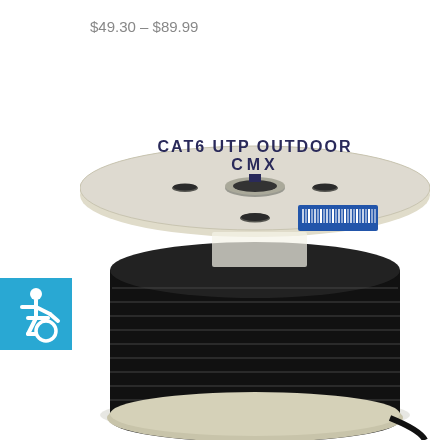$49.30 – $89.99
[Figure (photo): A large spool/reel of CAT6 UTP Outdoor CMX black ethernet cable. The spool has a beige/cream colored plastic frame with holes in the top disk, and is wound with black cable filling the barrel. A blue barcode label sticker is visible on the top disk face. Text on the spool reads 'CAT6 UTP OUTDOOR CMX'.]
[Figure (illustration): Accessibility/wheelchair symbol icon in white on a teal/blue square background badge in the left side of the image.]